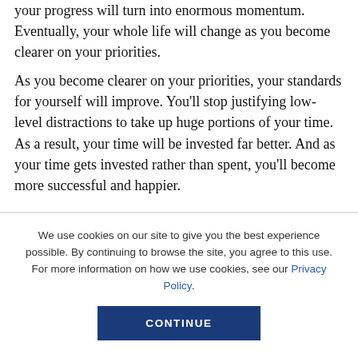your progress will turn into enormous momentum. Eventually, your whole life will change as you become clearer on your priorities.
As you become clearer on your priorities, your standards for yourself will improve. You'll stop justifying low-level distractions to take up huge portions of your time. As a result, your time will be invested far better. And as your time gets invested rather than spent, you'll become more successful and happier.
We use cookies on our site to give you the best experience possible. By continuing to browse the site, you agree to this use. For more information on how we use cookies, see our Privacy Policy.